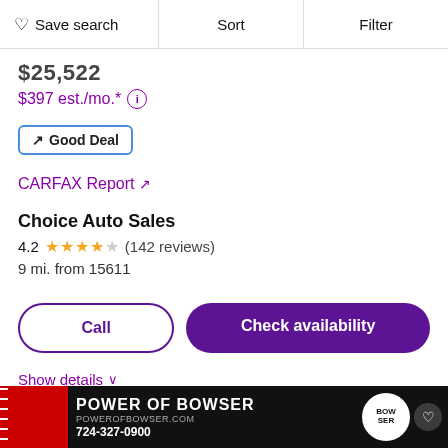Save search | Sort | Filter
$25,522
$397 est./mo.* (i)
↗ Good Deal
CARFAX Report ↗
Choice Auto Sales
4.2 ★★★★☆ (142 reviews)
9 mi. from 15611
Call
Check availability
Show details ∨
[Figure (other): Power of Bowser dealership advertisement banner with logo, URL powerofbowser.com, and phone number 724-327-0900]